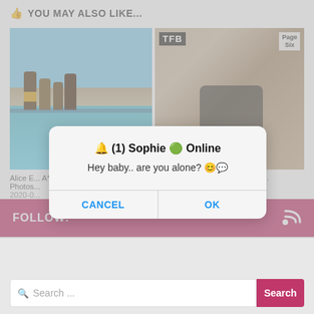👍 YOU MAY ALSO LIKE...
[Figure (screenshot): Screenshot of a webpage showing a 'You May Also Like' section with two thumbnail images (beach scene and another image with TFB badge), overlaid with a dialog box. The dialog shows '🔔 (1) Sophie 🟢 Online' with message 'Hey baby.. are you alone? 😊💬' and CANCEL / OK buttons. Below is a pink FOLLOW bar and a search bar.]
Alice E... A** in B... Photos...
Thumbnail Her Invite to Sex (8...
2020-0...
🔔 (1) Sophie 🟢 Online
Hey baby.. are you alone? 😊💬
CANCEL
OK
FOLLOW:
Search ...